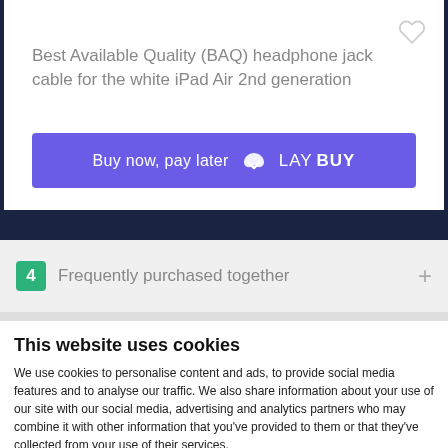Best Available Quality (BAQ) headphone jack cable for the white iPad Air 2nd generation
[Figure (infographic): Laybuy buy now pay later button - purple/indigo rounded rectangle with text 'Buy now, pay later' and Laybuy logo with heart icon]
4  Frequently purchased together
This website uses cookies
We use cookies to personalise content and ads, to provide social media features and to analyse our traffic. We also share information about your use of our site with our social media, advertising and analytics partners who may combine it with other information that you've provided to them or that they've collected from your use of their services.
OK   Settings